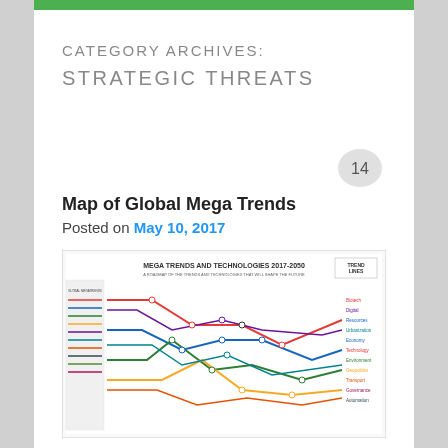CATEGORY ARCHIVES:
STRATEGIC THREATS
Map of Global Mega Trends
Posted on May 10, 2017
[Figure (map): Map of Mega Trends and Technologies 2017-2050 styled as a transit/subway map with colored lines representing different trend categories and nodes representing technologies and trends]